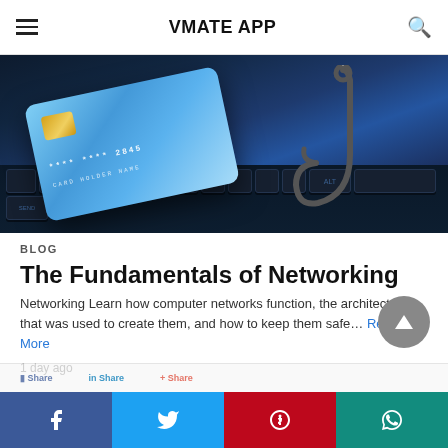VMATE APP
[Figure (photo): A blue credit card with a metal fish hook through it, resting on a dark keyboard — phishing/cybersecurity concept image.]
BLOG
The Fundamentals of Networking
Networking Learn how computer networks function, the architecture that was used to create them, and how to keep them safe… Read More
1 day ago
Facebook | Twitter | Pinterest | WhatsApp